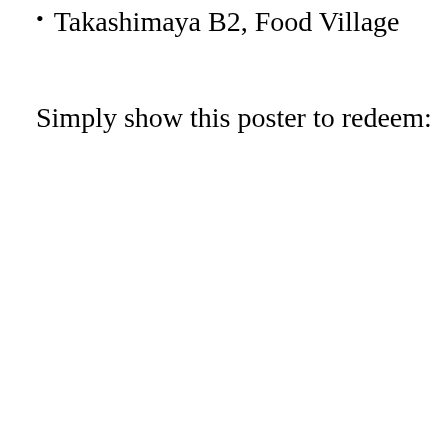Takashimaya B2, Food Village
Simply show this poster to redeem: